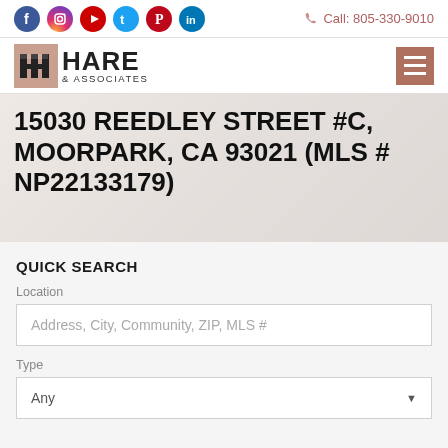Social icons: Facebook, Instagram, YouTube, Twitter, Pinterest, LinkedIn | Call: 805-330-9010
[Figure (logo): Hare & Associates real estate logo with stylized H building icon]
15030 REEDLEY STREET #C, MOORPARK, CA 93021 (MLS # NP22133179)
QUICK SEARCH
Location
Address, City, Community, ZIP, MLS #
Type
Any